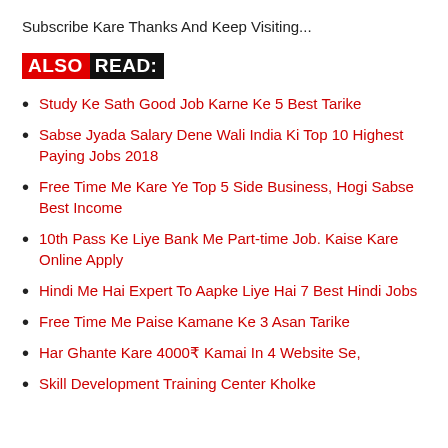Subscribe Kare Thanks And Keep Visiting...
ALSO READ:
Study Ke Sath Good Job Karne Ke 5 Best Tarike
Sabse Jyada Salary Dene Wali India Ki Top 10 Highest Paying Jobs 2018
Free Time Me Kare Ye Top 5 Side Business, Hogi Sabse Best Income
10th Pass Ke Liye Bank Me Part-time Job. Kaise Kare Online Apply
Hindi Me Hai Expert To Aapke Liye Hai 7 Best Hindi Jobs
Free Time Me Paise Kamane Ke 3 Asan Tarike
Har Ghante Kare 4000₹ Kamai In 4 Website Se,
Skill Development Training Center Kholke